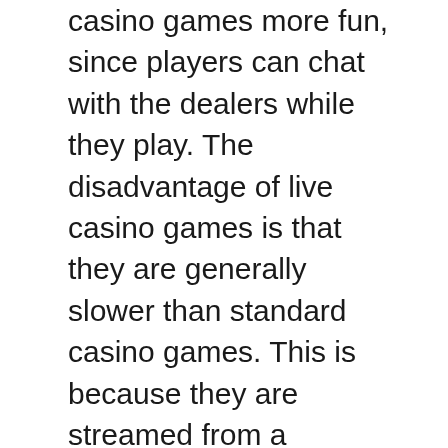casino games more fun, since players can chat with the dealers while they play. The disadvantage of live casino games is that they are generally slower than standard casino games. This is because they are streamed from a dedicated studio, so there may be occasional technical difficulties.
A live casino typically has at least three rooms – a studio, analyst room, and dealer's room. The configurations of these rooms will vary based on which provider the casino chooses, but they all have the same basic setup. Moreover, some live casinos